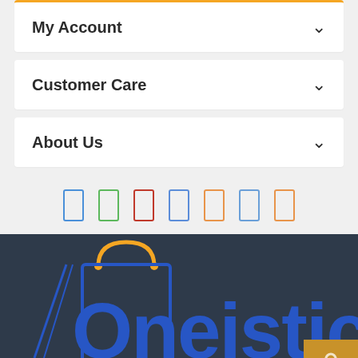My Account
Customer Care
About Us
[Figure (logo): Row of 7 social media icon outlines in various colors (blue, green, red, blue, orange, blue, orange)]
[Figure (logo): Oneistic brand logo with shopping bag icon in orange and blue on dark navy background, with a gold lock icon in bottom right corner]